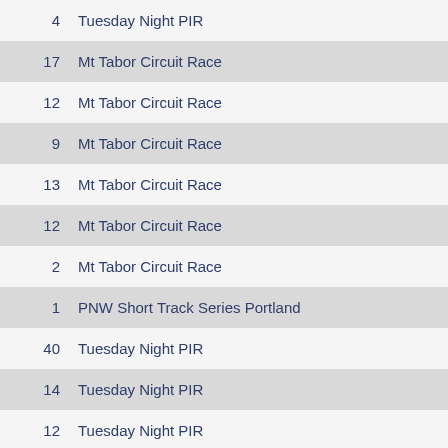4  Tuesday Night PIR
17  Mt Tabor Circuit Race
12  Mt Tabor Circuit Race
9  Mt Tabor Circuit Race
13  Mt Tabor Circuit Race
12  Mt Tabor Circuit Race
2  Mt Tabor Circuit Race
1  PNW Short Track Series Portland
40  Tuesday Night PIR
14  Tuesday Night PIR
12  Tuesday Night PIR
19  Tuesday Night PIR